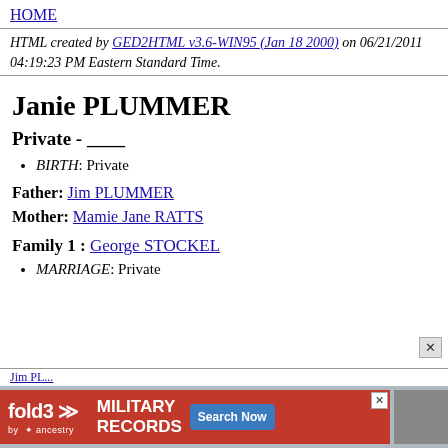HOME
HTML created by GED2HTML v3.6-WIN95 (Jan 18 2000) on 06/21/2011 04:19:23 PM Eastern Standard Time.
Janie PLUMMER
Private - ____
BIRTH: Private
Father: Jim PLUMMER
Mother: Mamie Jane RATTS
Family 1 : George STOCKEL
MARRIAGE: Private
[Figure (other): fold3 by Ancestry advertisement banner for Military Records with Search Now button]